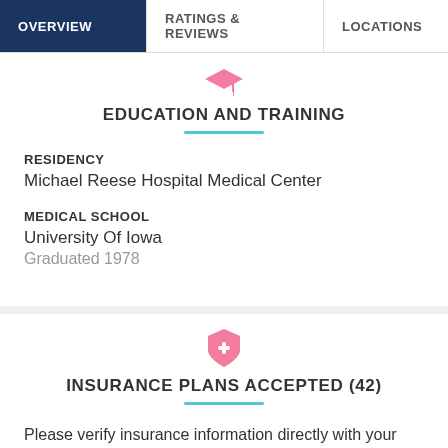OVERVIEW | RATINGS & REVIEWS | LOCATIONS | EX
EDUCATION AND TRAINING
RESIDENCY
Michael Reese Hospital Medical Center
MEDICAL SCHOOL
University Of Iowa
Graduated 1978
INSURANCE PLANS ACCEPTED (42)
Please verify insurance information directly with your doctor's office as it may change frequently.
UHC Navigate POS
Navigate POS